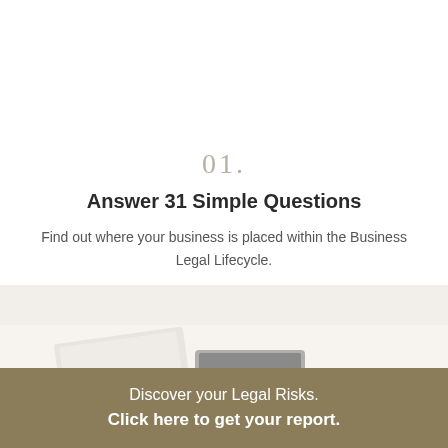01.
Answer 31 Simple Questions
Find out where your business is placed within the Business Legal Lifecycle.
[Figure (photo): Overhead view of a person's hands typing on a laptop on a white desk, with a notebook nearby and a red dot overlay element]
Discover your Legal Risks. Click here to get your report.